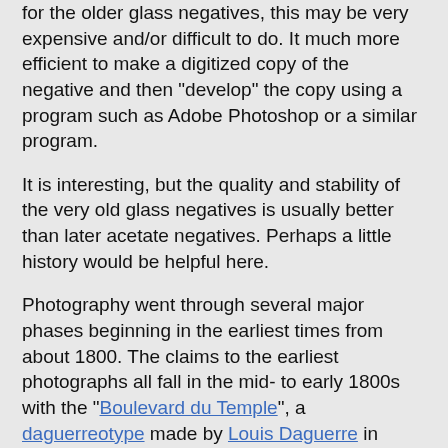for the older glass negatives, this may be very expensive and/or difficult to do. It much more efficient to make a digitized copy of the negative and then "develop" the copy using a program such as Adobe Photoshop or a similar program.
It is interesting, but the quality and stability of the very old glass negatives is usually better than later acetate negatives. Perhaps a little history would be helpful here.
Photography went through several major phases beginning in the earliest times from about 1800. The claims to the earliest photographs all fall in the mid- to early 1800s with the "Boulevard du Temple", a daguerreotype made by Louis Daguerre in 1838, the photograph generally accepted as the earliest one of people. See Wikipedia: History of Photography. The photographs made by the process developed by Louis Daguerre became known as a Daguerrotypes. Although many of these early Daguerrotypes survive, they are usually considered priceless museum pieces. Each Daguerrotype or other similar process photograph was an original and could not be easily